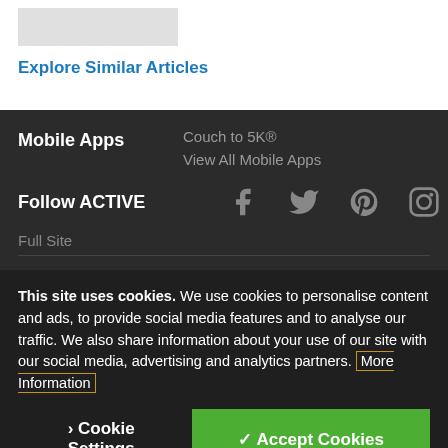[Figure (other): Gray placeholder image rectangle]
Explore Similar Articles
Mobile Apps  Couch to 5K®  View All Mobile Apps
Follow ACTIVE [Facebook] [Twitter] [Pinterest] [Instagram]
Full Site
This site uses cookies. We use cookies to personalise content and ads, to provide social media features and to analyse our traffic. We also share information about your use of our site with our social media, advertising and analytics partners. More Information
Cookie Settings  ✓ Accept Cookies